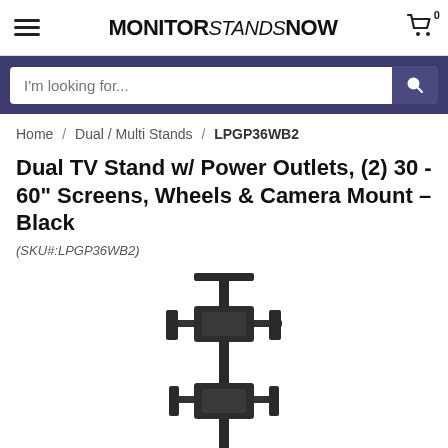MONITOR Stands NOW
I'm looking for...
Home / Dual / Multi Stands / LPGP36WB2
Dual TV Stand w/ Power Outlets, (2) 30 - 60" Screens, Wheels & Camera Mount – Black
(SKU#:LPGP36WB2)
[Figure (photo): Black dual TV stand with two monitor mounting brackets arranged vertically on a pole, with a camera mount at top, and wheeled base at bottom. Product shown from front angle.]